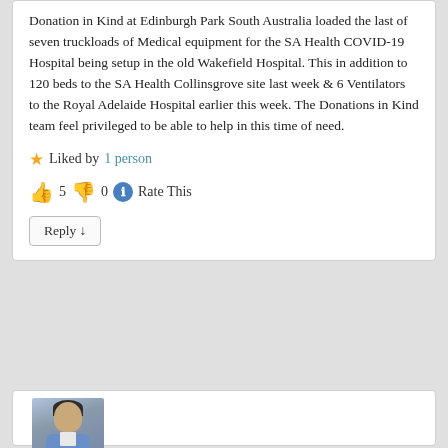Donation in Kind at Edinburgh Park South Australia loaded the last of seven truckloads of Medical equipment for the SA Health COVID-19 Hospital being setup in the old Wakefield Hospital. This in addition to 120 beds to the SA Health Collinsgrove site last week & 6 Ventilators to the Royal Adelaide Hospital earlier this week. The Donations in Kind team feel privileged to be able to help in this time of need.
★ Liked by 1 person
👍 5 👎 0 ℹ Rate This
Reply ↓
[Figure (photo): Profile photo of a man in a blue jacket, partially visible at the bottom of the page]